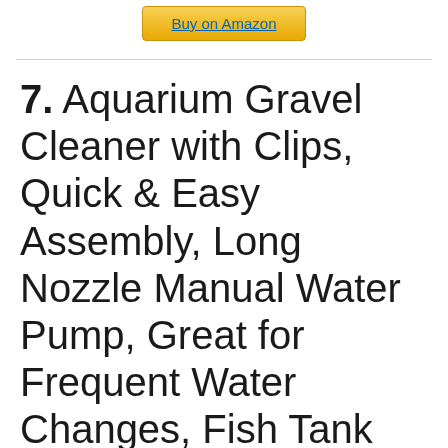[Figure (other): Buy on Amazon button — gold/yellow gradient button with underlined blue text]
7. Aquarium Gravel Cleaner with Clips, Quick & Easy Assembly, Long Nozzle Manual Water Pump, Great for Frequent Water Changes, Fish Tank Cleaning Kit for Saltwater and Freshwater